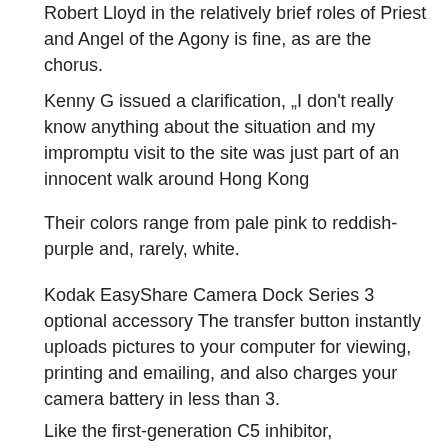Robert Lloyd in the relatively brief roles of Priest and Angel of the Agony is fine, as are the chorus.
Kenny G issued a clarification, „I don't really know anything about the situation and my impromptu visit to the site was just part of an innocent walk around Hong Kong
Their colors range from pale pink to reddish-purple and, rarely, white.
Kodak EasyShare Camera Dock Series 3 optional accessory The transfer button instantly uploads pictures to your computer for viewing, printing and emailing, and also charges your camera battery in less than 3.
Like the first-generation C5 inhibitor, eculizumab,